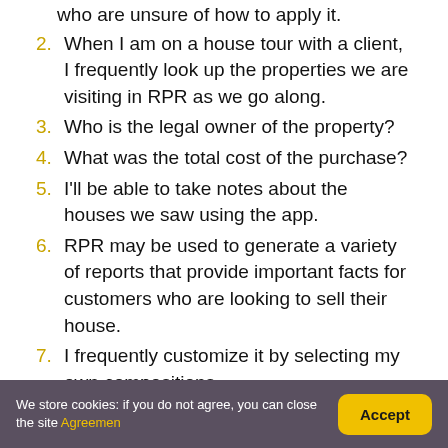who are unsure of how to apply it.
2. When I am on a house tour with a client, I frequently look up the properties we are visiting in RPR as we go along.
3. Who is the legal owner of the property?
4. What was the total cost of the purchase?
5. I'll be able to take notes about the houses we saw using the app.
6. RPR may be used to generate a variety of reports that provide important facts for customers who are looking to sell their house.
7. I frequently customize it by selecting my own compositions.
We store cookies: if you do not agree, you can close the site Agreement